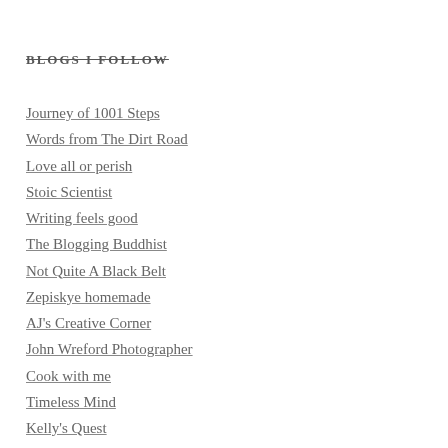BLOGS I FOLLOW
Journey of 1001 Steps
Words from The Dirt Road
Love all or perish
Stoic Scientist
Writing feels good
The Blogging Buddhist
Not Quite A Black Belt
Zepiskye homemade
AJ's Creative Corner
John Wreford Photographer
Cook with me
Timeless Mind
Kelly's Quest
Raising Vibrations
precinct1313